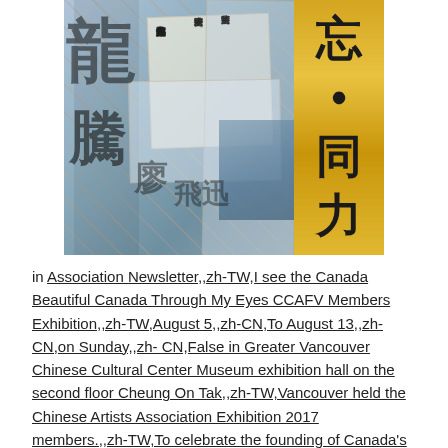[Figure (photo): A collage image featuring Chinese calligraphy works and documents layered together, with a gold vertical banner on the right side displaying Chinese characters meaning 'unity/togetherness and strength' (同力), and dark calligraphic brush characters on the left side against a mixed paper background.]
in Association Newsletter,,zh-TW,I see the Canada Beautiful Canada Through My Eyes CCAFV Members Exhibition,,zh-TW,August 5,,zh-CN,To August 13,,zh-CN,on Sunday,,zh-CN,False in Greater Vancouver Chinese Cultural Center Museum exhibition hall on the second floor Cheung On Tak,,zh-TW,Vancouver held the Chinese Artists Association Exhibition 2017 members.,,zh-TW,To celebrate the founding of Canada's Sesquicentennial,,zh-TW,T...